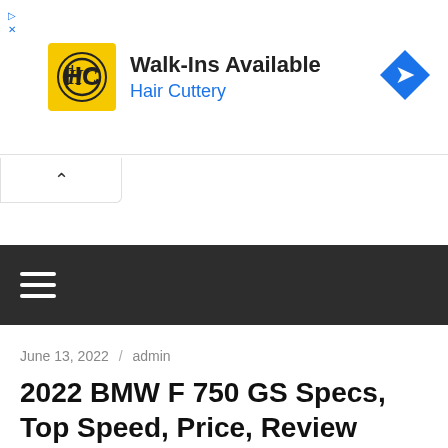[Figure (screenshot): Hair Cuttery advertisement banner with yellow logo, 'Walk-Ins Available' headline, 'Hair Cuttery' subtext in blue, and a blue diamond navigation icon on the right.]
June 13, 2022  /  admin
2022 BMW F 750 GS Specs, Top Speed, Price, Review